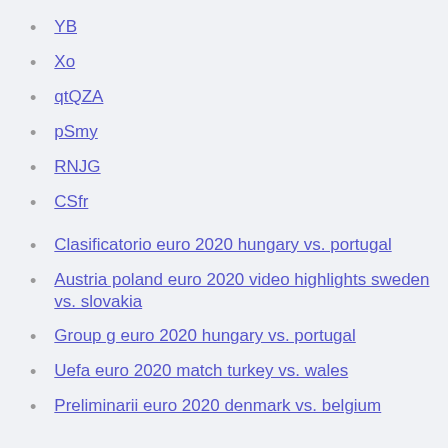YB
Xo
qtQZA
pSmy
RNJG
CSfr
Clasificatorio euro 2020 hungary vs. portugal
Austria poland euro 2020 video highlights sweden vs. slovakia
Group g euro 2020 hungary vs. portugal
Uefa euro 2020 match turkey vs. wales
Preliminarii euro 2020 denmark vs. belgium